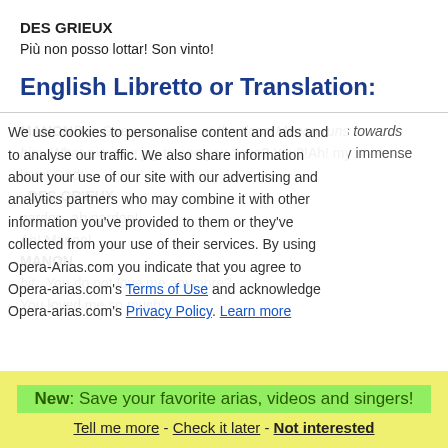DES GRIEUX
Più non posso lottar! Son vinto!
English Libretto or Translation:
MANONDes Grieux appears at the door. Manon runs towards him. What extreme joy to see you, love? You?!Ah! my immense love! God!
DES GRIEUX
pardon, ah pardon!
Ah! Manon!
MANON
hit
You do not love me anymore?
You loved me so much!
We use cookies to personalise content and ads and to analyse our traffic. We also share information about your use of our site with our advertising and analytics partners who may combine it with other information you've provided to them or they've collected from your use of their services. By using Opera-Arias.com you indicate that you agree to Opera-arias.com's Terms of Use and acknowledge Opera-arias.com's Privacy Policy. Learn more
New: Save your favorite arias, videos and singers!
Tell me more - Check it later - Not interested